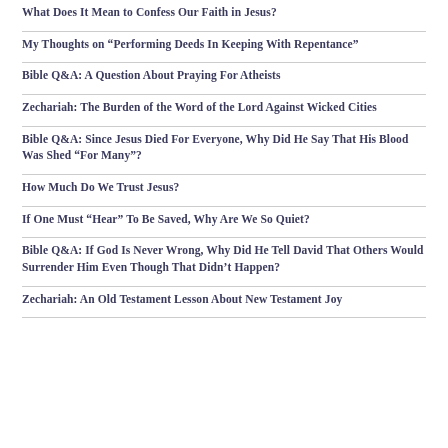What Does It Mean to Confess Our Faith in Jesus?
My Thoughts on “Performing Deeds In Keeping With Repentance”
Bible Q&A: A Question About Praying For Atheists
Zechariah: The Burden of the Word of the Lord Against Wicked Cities
Bible Q&A: Since Jesus Died For Everyone, Why Did He Say That His Blood Was Shed “For Many”?
How Much Do We Trust Jesus?
If One Must “Hear” To Be Saved, Why Are We So Quiet?
Bible Q&A: If God Is Never Wrong, Why Did He Tell David That Others Would Surrender Him Even Though That Didn’t Happen?
Zechariah: An Old Testament Lesson About New Testament Joy